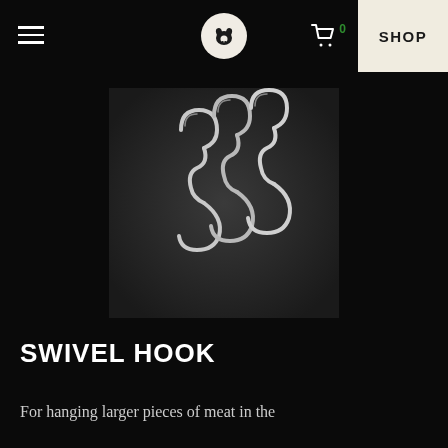≡ [logo] 🛒0 SHOP
[Figure (photo): Three silver swivel/butcher S-hooks on a dark background]
SWIVEL HOOK
For hanging larger pieces of meat in the